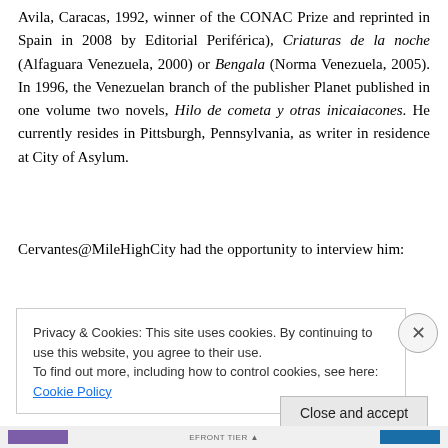Avila, Caracas, 1992, winner of the CONAC Prize and reprinted in Spain in 2008 by Editorial Periférica), Criaturas de la noche (Alfaguara Venezuela, 2000) or Bengala (Norma Venezuela, 2005). In 1996, the Venezuelan branch of the publisher Planet published in one volume two novels, Hilo de cometa y otras inicaiacones. He currently resides in Pittsburgh, Pennsylvania, as writer in residence at City of Asylum.
Cervantes@MileHighCity had the opportunity to interview him:
Privacy & Cookies: This site uses cookies. By continuing to use this website, you agree to their use. To find out more, including how to control cookies, see here: Cookie Policy